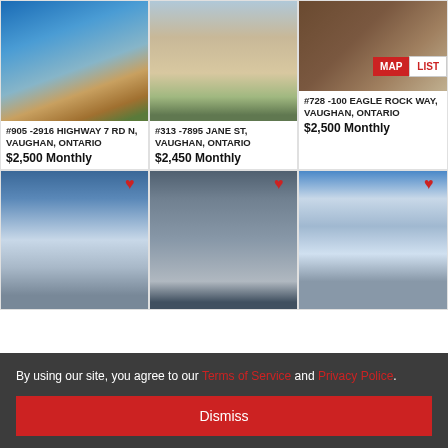[Figure (photo): Exterior photo of a building with glass facade and red accent, blue sky - listing card 1]
#905 -2916 HIGHWAY 7 RD N, VAUGHAN, ONTARIO
$2,500 Monthly
[Figure (photo): Tall residential tower with beige cladding, blue sky - listing card 2]
#313 -7895 JANE ST, VAUGHAN, ONTARIO
$2,450 Monthly
[Figure (photo): Interior wood flooring photo - listing card 3]
#728 -100 EAGLE ROCK WAY, VAUGHAN, ONTARIO
$2,500 Monthly
[Figure (photo): Residential tower building exterior, lower angle - listing card 4]
[Figure (photo): Dark glass skyscraper exterior - listing card 5]
[Figure (photo): Modern twin tower complex exterior rendering - listing card 6]
By using our site, you agree to our Terms of Service and Privacy Police.
Dismiss